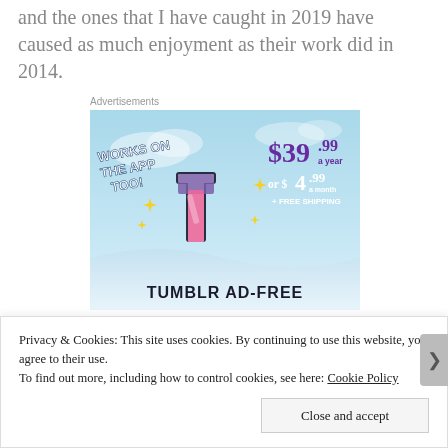and the ones that I have caught in 2019 have caused as much enjoyment as their work did in 2014.
Advertisements
[Figure (screenshot): Tumblr Ad-Free advertisement banner showing the Tumblr logo with text 'WORKS ON THE APP TOO!' and pricing '$39.99 a year or $4.99 a month + FREE SHIPPING' with 'TUMBLR AD-FREE' at the bottom, on a blue sky background.]
Privacy & Cookies: This site uses cookies. By continuing to use this website, you agree to their use. To find out more, including how to control cookies, see here: Cookie Policy